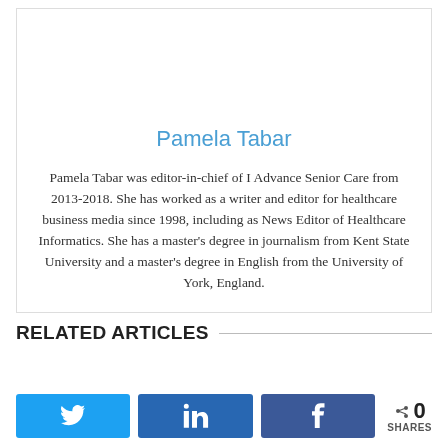Pamela Tabar
Pamela Tabar was editor-in-chief of I Advance Senior Care from 2013-2018. She has worked as a writer and editor for healthcare business media since 1998, including as News Editor of Healthcare Informatics. She has a master's degree in journalism from Kent State University and a master's degree in English from the University of York, England.
RELATED ARTICLES
[Figure (other): Social share buttons: Twitter (blue), LinkedIn (dark blue), Facebook (dark blue), and share count showing 0 SHARES]